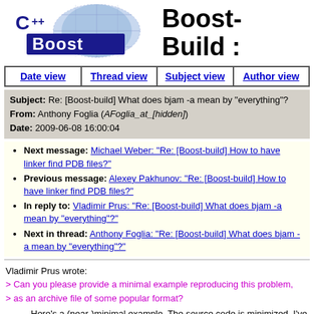[Figure (logo): C++ Boost logo with blue globe and stylized text]
Boost-Build :
| Date view | Thread view | Subject view | Author view |
| --- | --- | --- | --- |
Subject: Re: [Boost-build] What does bjam -a mean by "everything"?
From: Anthony Foglia (AFoglia_at_[hidden])
Date: 2009-06-08 16:00:04
Next message: Michael Weber: "Re: [Boost-build] How to have linker find PDB files?"
Previous message: Alexey Pakhunov: "Re: [Boost-build] How to have linker find PDB files?"
In reply to: Vladimir Prus: "Re: [Boost-build] What does bjam -a mean by "everything"?"
Next in thread: Anthony Foglia: "Re: [Boost-build] What does bjam -a mean by "everything"?"
Vladimir Prus wrote:
> Can you please provide a minimal example reproducing this problem,
> as an archive file of some popular format?
Here's a (near-)minimal example. The source code is minimized. I've added a simple executable in projects/ that can be compiled that uses everything (albeit indirectly). I've only eliminated stuff from the